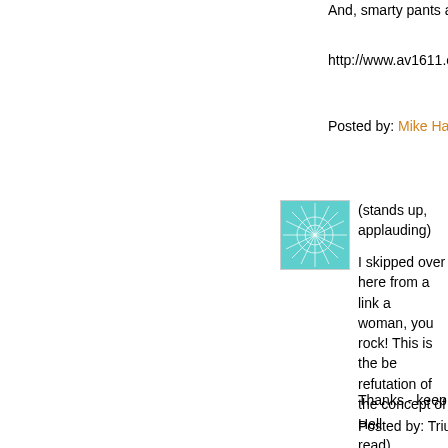And, smarty pants atheist, here
http://www.av1611.org/hell.htm
Posted by: Mike Haubrich, FCD | Aug
[Figure (illustration): Teal/green circular burst pattern avatar image]
(stands up, applauding)

I skipped over here from a link a woman, you rock! This is the be refutation of the concept of Hell read).
Thanks - keep it up!
Posted by: Triumphal_Thusnelda | Au
[Figure (illustration): Yellow-green circular burst pattern avatar image]
Beautiful! Check Joyce's 'Portra describes an Irish catholic Jesui bunch of pubescent children ude retreat. Three days of Hell theat